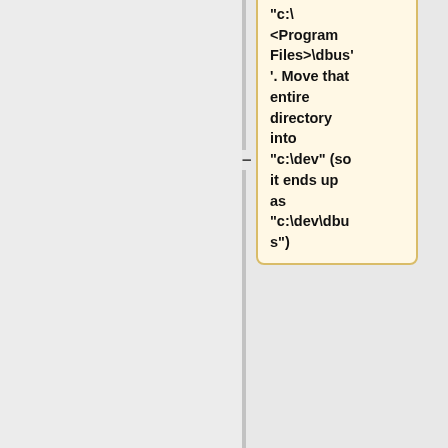"c:\ <Program Files>\dbus'. Move that entire directory into "c:\dev" (so it ends up as "c:\dev\dbus")
–
Copy all .dll files from "c:\Program Files\win32libs\bin" to "c:\dev\dbus\bin"